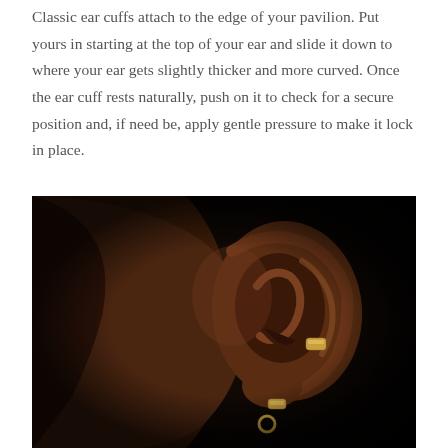Classic ear cuffs attach to the edge of your pavilion. Put yours in starting at the top of your ear and slide it down to where your ear gets slightly thicker and more curved. Once the ear cuff rests naturally, push on it to check for a secure position and, if need be, apply gentle pressure to make it lock in place.
[Figure (photo): Close-up photograph of a dark-skinned person's ear on a black background, wearing gold ear cuffs/earrings on the lower part of the ear.]